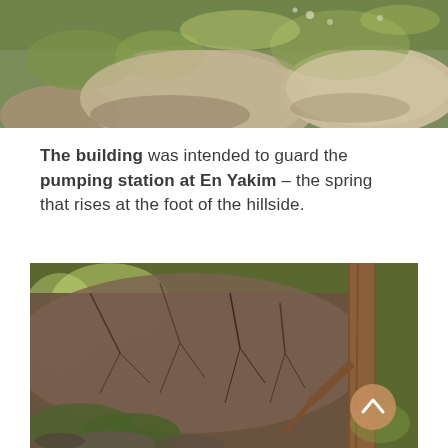[Figure (photo): Landscape photo showing rocks and green grass/vegetation on a hillside, partial view cropped at top of page]
The building was intended to guard the pumping station at En Yakim – the spring that rises at the foot of the hillside.
[Figure (photo): Photo of dense woodland/scrubland with bare branching shrubs and a tree trunk on the right, rocky ground at the foot, with a circular upward-arrow navigation button overlay in the lower right]